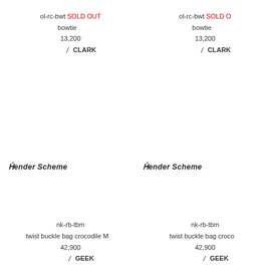ol-rc-bwt SOLD OUT
bowtie
13,200
 / CLARK
ol-rc-bwt SOLD OUT
bowtie
13,200
 / CLARK
Hender Scheme
Hender Scheme
nk-rb-tbm
twist buckle bag crocodile M
42,900
 / GEEK
nk-rb-tbm
twist buckle bag croco
42,900
 / GEEK